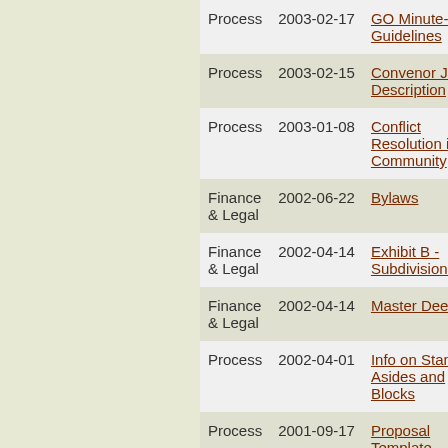| Category | Date | Document |
| --- | --- | --- |
| Process | 2003-02-17 | GO Minute-taking Guidelines |
| Process | 2003-02-15 | Convenor Job Description |
| Process | 2003-01-08 | Conflict Resolution in C Community |
| Finance & Legal | 2002-06-22 | Bylaws |
| Finance & Legal | 2002-04-14 | Exhibit B - Subdivision Pla |
| Finance & Legal | 2002-04-14 | Master Deed |
| Process | 2002-04-01 | Info on Stand-Asides and Blocks |
| Process | 2001-09-17 | Proposal Template proposal |